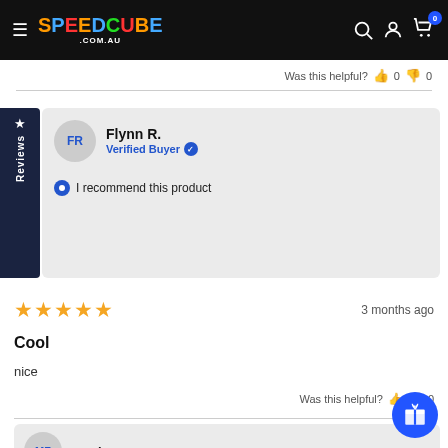SPEEDCUBE.COM.AU
Was this helpful? 👍 0 👎 0
Flynn R.
Verified Buyer
I recommend this product
★★★★★  3 months ago
Cool
nice
Was this helpful? 0
maciu z.